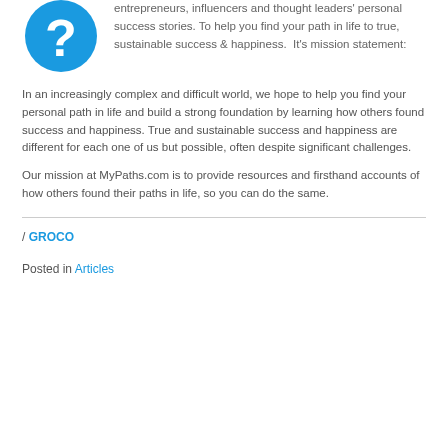[Figure (logo): Blue circle with white question mark logo for MyPaths.com]
entrepreneurs, influencers and thought leaders' personal success stories. To help you find your path in life to true, sustainable success & happiness.  It's mission statement:
In an increasingly complex and difficult world, we hope to help you find your personal path in life and build a strong foundation by learning how others found success and happiness. True and sustainable success and happiness are different for each one of us but possible, often despite significant challenges.
Our mission at MyPaths.com is to provide resources and firsthand accounts of how others found their paths in life, so you can do the same.
/ GROCO
Posted in Articles